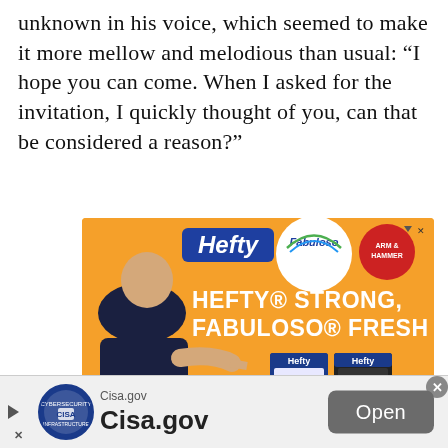unknown in his voice, which seemed to make it more mellow and melodious than usual: “I hope you can come. When I asked for the invitation, I quickly thought of you, can that be considered a reason?”
[Figure (photo): Hefty and Fabuloso advertisement banner featuring a muscular man in a dark t-shirt pointing at Hefty trash bag products. Orange background with Hefty logo, Fabuloso script logo, Arm & Hammer logo, and text reading HEFTY STRONG, FABULOSO FRESH. Two Hefty Ultra Strong product boxes shown. Disclaimer text: The ARM & HAMMER trademarks are owned by Church & Dwight Co., Inc., and are used by Reynolds Consumer Products under license. Fabuloso and]
[Figure (photo): Bottom advertisement bar for Cisa.gov featuring the CISA circular seal/logo on the left, text showing 'Cisa.gov' and 'Cisa.gov' in large bold type, and an 'Open' button on the right with a gray background. Play triangle icon on the far left. X close button in the top-right corner.]